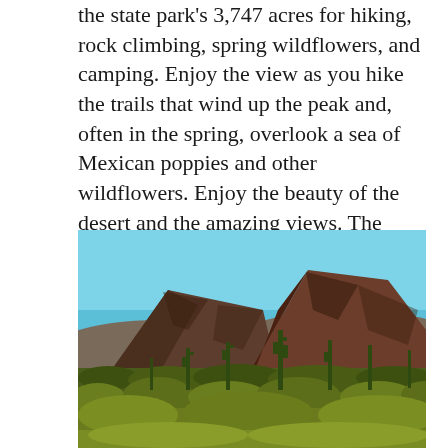the state park's 3,747 acres for hiking, rock climbing, spring wildflowers, and camping. Enjoy the view as you hike the trails that wind up the peak and, often in the spring, overlook a sea of Mexican poppies and other wildflowers. Enjoy the beauty of the desert and the amazing views. The campground includes 85 sites with electric hookups.
[Figure (photo): Desert landscape photograph showing two rocky mountain peaks (reddish-brown rock formations) rising above dense desert scrub vegetation including saguaro cacti and green desert brush, under a clear blue sky.]